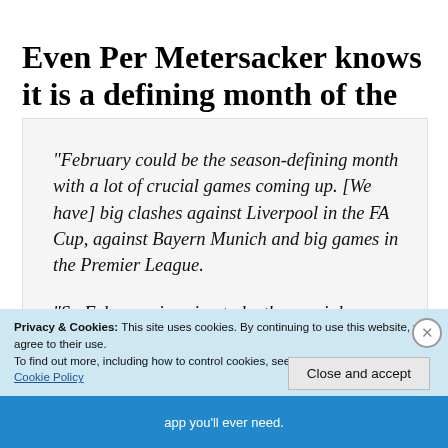Even Per Metersacker knows it is a defining month of the season
“February could be the season-defining month with a lot of crucial games coming up. [We have] big clashes against Liverpool in the FA Cup, against Bayern Munich and big games in the Premier League.

“So February is going to be the crucial
Privacy & Cookies: This site uses cookies. By continuing to use this website, you agree to their use.
To find out more, including how to control cookies, see here: Cookie Policy
Close and accept
app you’ll ever need.